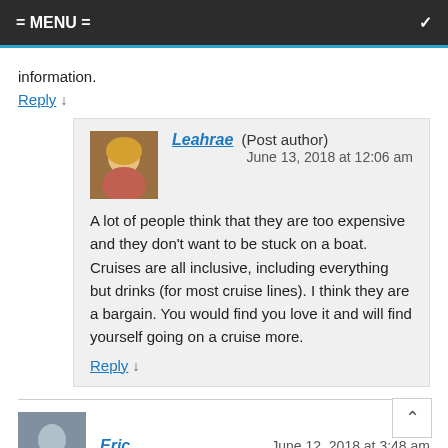= MENU =
information.
Reply ↓
Leahrae (Post author)
June 13, 2018 at 12:06 am
A lot of people think that they are too expensive and they don't want to be stuck on a boat. Cruises are all inclusive, including everything but drinks (for most cruise lines). I think they are a bargain. You would find you love it and will find yourself going on a cruise more.
Reply ↓
Eric
June 12, 2018 at 3:48 am
Is a Cruise Right For Me? I have a friend who works on cruise